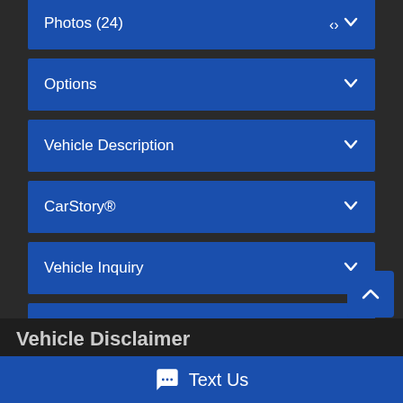Photos (24) ▾
Options ▾
Vehicle Description ▾
CarStory® ▾
Vehicle Inquiry ▾
Share with a Friend ▾
Price Drop Notifications ▾
Vehicle Disclaimer
Text Us